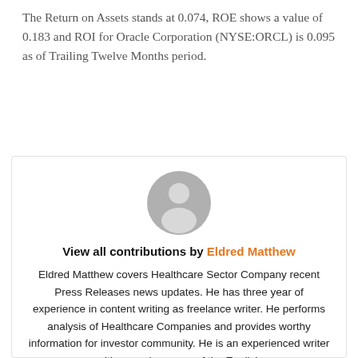The Return on Assets stands at 0.074, ROE shows a value of 0.183 and ROI for Oracle Corporation (NYSE:ORCL) is 0.095 as of Trailing Twelve Months period.
[Figure (illustration): Generic grey user/avatar profile icon — circular head and shoulders silhouette]
View all contributions by Eldred Matthew
Eldred Matthew covers Healthcare Sector Company recent Press Releases news updates. He has three year of experience in content writing as freelance writer. He performs analysis of Healthcare Companies and provides worthy information for investor community. He is an experienced writer with a precise grasp of the English